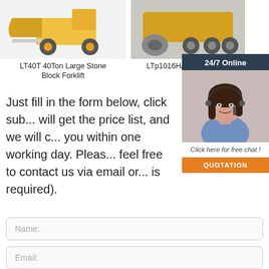[Figure (photo): LT40T 40Ton Large Stone Block Forklift product photo]
LT40T 40Ton Large Stone Block Forklift
[Figure (photo): LTp1016H/1... Hydraulic product photo]
LTp1016H/1... Hydrauli...
[Figure (photo): 24/7 Online chat panel with female customer service agent. Click here for free chat! QUOTATION button.]
Just fill in the form below, click sub... will get the price list, and we will c... you within one working day. Pleas... feel free to contact us via email or... is required).
Name:
Email: